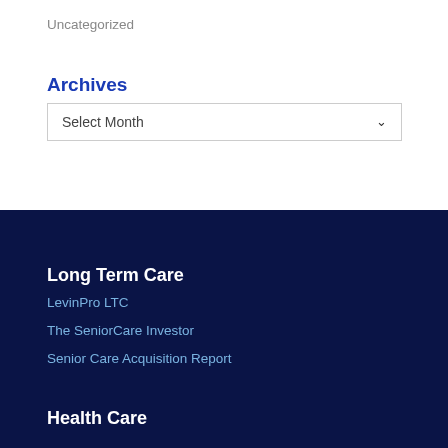Uncategorized
Archives
Select Month
Long Term Care
LevinPro LTC
The SeniorCare Investor
Senior Care Acquisition Report
Health Care